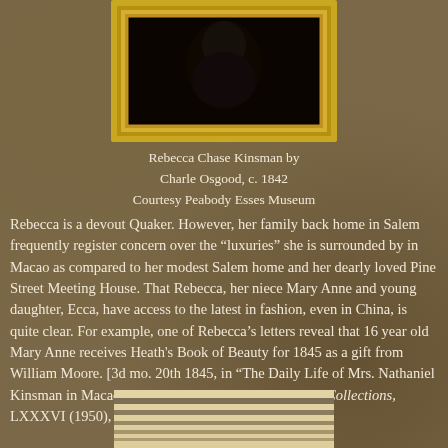[Figure (photo): Portrait photograph of Rebecca Chase Kinsman in an oval gold frame, showing a dark silhouette against black background, positioned at top center of page]
Rebecca Chase Kinsman by
Charle Osgood, c. 1842
Courtesy Peabody Esses Museum
Rebecca is a devout Quaker. However, her family back home in Salem frequently register concern over the “luxuries” she is surrounded by in Macao as compared to her modest Salem home and her dearly loved Pine Street Meeting House. That Rebecca, her niece Mary Anne and young daughter, Ecca, have access to the latest in fashion, even in China, is quite clear. For example, one of Rebecca’s letters reveal that 16 year old Mary Anne receives Heath's Book of Beauty for 1845 as a gift from William Moore. [3d mo. 20th 1845, in “The Daily Life of Mrs. Nathaniel Kinsman in Macao, China,” Essex Institute Historical Collections, LXXXVI (1950), 120.]
[Figure (photo): Partial image of a decorative striped circular object (possibly a fan or hat) shown at the bottom of the page, cream and tan colored stripes]